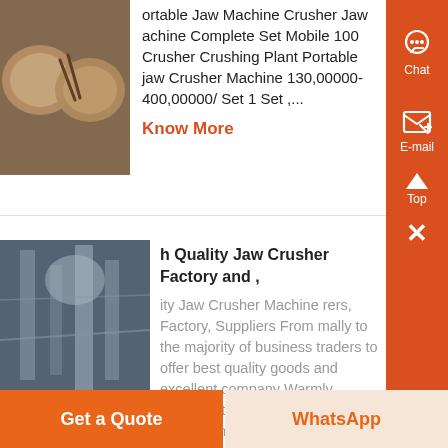[Figure (photo): Photo of food bowls with chopsticks (partially visible), used as product listing image for jaw crusher listing]
ortable Jaw Machine Crusher Jaw achine Complete Set Mobile 100 Crusher Crushing Plant Portable jaw Crusher Machine 130,00000- 400,00000/ Set 1 Set ,...
Know More
[Figure (photo): Photo of industrial jaw crusher machinery in a factory setting]
h Quality Jaw Crusher Factory and ,
ity Jaw Crusher Machine rers, Factory, Suppliers From mally to the majority of business traders to offer best quality goods and excellent company Warmly welcome to join us, let s innovation
Get a Quote
WhatsApp